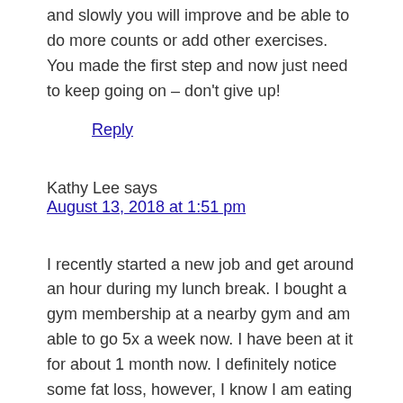and slowly you will improve and be able to do more counts or add other exercises. You made the first step and now just need to keep going on – don't give up!
Reply
Kathy Lee says
August 13, 2018 at 1:51 pm
I recently started a new job and get around an hour during my lunch break. I bought a gym membership at a nearby gym and am able to go 5x a week now. I have been at it for about 1 month now. I definitely notice some fat loss, however, I know I am eating a calorie deficit. I will try to incorporate those fat burning exercises too,